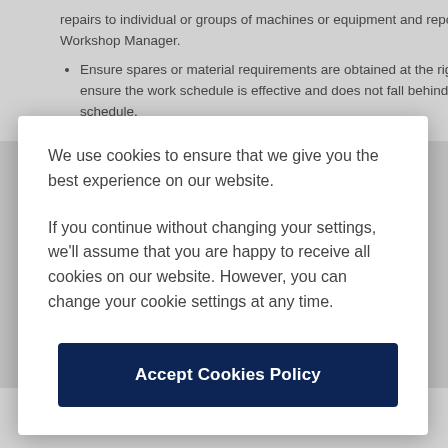repairs to individual or groups of machines or equipment and report to Workshop Manager.
Ensure spares or material requirements are obtained at the right time to ensure the work schedule is effective and does not fall behind schedule.
We use cookies to ensure that we give you the best experience on our website.
If you continue without changing your settings, we'll assume that you are happy to receive all cookies on our website. However, you can change your cookie settings at any time.
Accept Cookies Policy
City & Guilds Craft Certificate, NVQ Level 3 in Plant Maintenance or equivalent.